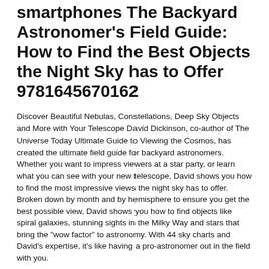smartphones The Backyard Astronomer's Field Guide: How to Find the Best Objects the Night Sky has to Offer 9781645670162
Discover Beautiful Nebulas, Constellations, Deep Sky Objects and More with Your Telescope David Dickinson, co-author of The Universe Today Ultimate Guide to Viewing the Cosmos, has created the ultimate field guide for backyard astronomers. Whether you want to impress viewers at a star party, or learn what you can see with your new telescope, David shows you how to find the most impressive views the night sky has to offer. Broken down by month and by hemisphere to ensure you get the best possible view, David shows you how to find objects like spiral galaxies, stunning sights in the Milky Way and stars that bring the "wow factor" to astronomy. With 44 sky charts and David's expertise, it's like having a pro-astronomer out in the field with you.
The Backyard Astronomer's Guide: Dickinson, Terence / Tyer